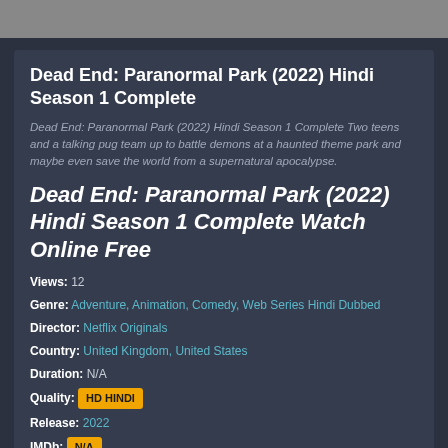[Figure (photo): Gray banner/image placeholder at top]
Dead End: Paranormal Park (2022) Hindi Season 1 Complete
Dead End: Paranormal Park (2022) Hindi Season 1 Complete Two teens and a talking pug team up to battle demons at a haunted theme park and maybe even save the world from a supernatural apocalypse.
Dead End: Paranormal Park (2022) Hindi Season 1 Complete Watch Online Free
Views: 12
Genre: Adventure, Animation, Comedy, Web Series Hindi Dubbed
Director: Netflix Originals
Country: United Kingdom, United States
Duration: N/A
Quality: HD HINDI
Release: 2022
IMDb: N/A